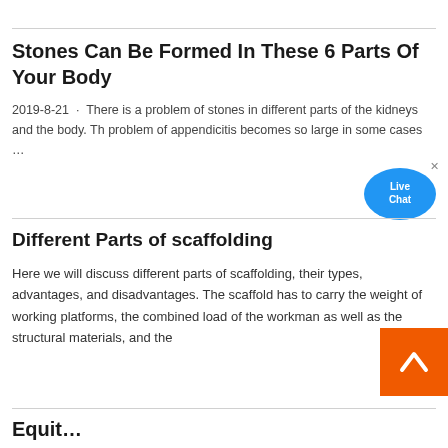Stones Can Be Formed In These 6 Parts Of Your Body
2019-8-21 · There is a problem of stones in different parts of the kidneys and the body. Th problem of appendicitis becomes so large in some cases …
[Figure (other): Live Chat bubble widget in blue]
Different Parts of scaffolding
Here we will discuss different parts of scaffolding, their types, advantages, and disadvantages. The scaffold has to carry the weight of working platforms, the combined load of the workman as well as the structural materials, and the
[Figure (other): Back to top orange button with up arrow]
Equit…